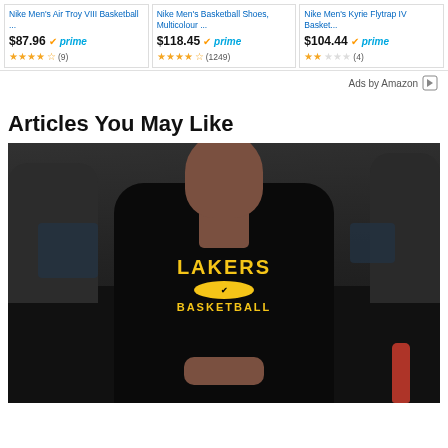[Figure (other): Three Amazon product ad cards showing Nike basketball shoes. Card 1: Nike Men's Air Troy VIII Basketball ... $87.96 Prime, 3.5 stars (9). Card 2: Nike Men's Basketball Shoes, Multicolour ... $118.45 Prime, 4 stars (1249). Card 3: Nike Men's Kyrie Flytrap IV Basket... $104.44 Prime, 2.5 stars (4).]
Ads by Amazon
Articles You May Like
[Figure (photo): Photo of a man wearing a black Lakers Basketball Nike sweatshirt, seated in what appears to be an arena sideline setting.]